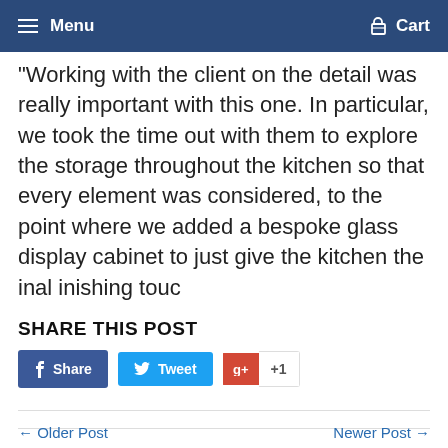Menu  Cart
“Working with the client on the detail was really important with this one. In particular, we took the time out with them to explore the storage throughout the kitchen so that every element was considered, to the point where we added a bespoke glass display cabinet to just give the kitchen the inal inishing touc
SHARE THIS POST
[Figure (other): Social share buttons: Facebook Share, Twitter Tweet, Google+ +1]
← Older Post
Newer Post →